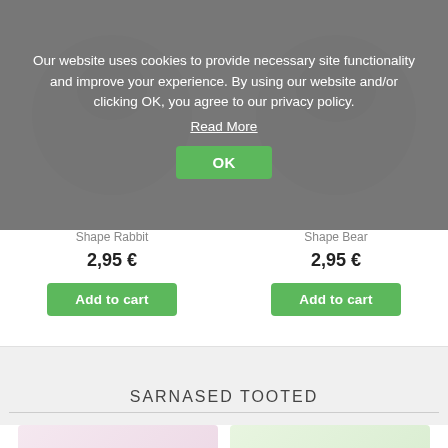Our website uses cookies to provide necessary site functionality and improve your experience. By using our website and/or clicking OK, you agree to our privacy policy. Read More
Shape Rabbit
2,95 €
Add to cart
Shape Bear
2,95 €
Add to cart
SARNASED TOOTED
[Figure (photo): Modeling clay product in pink color with colorful rainbow pattern box packaging, teal branded lid]
[Figure (photo): Modeling clay product in green color with colorful rainbow pattern box packaging, teal branded lid]